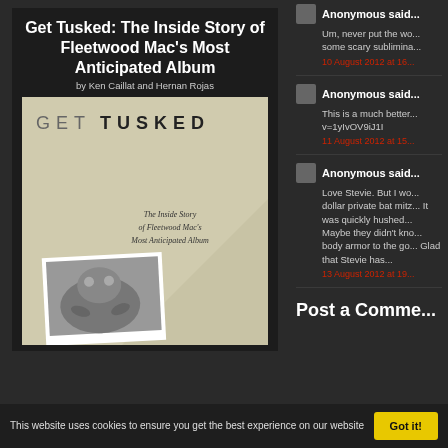Get Tusked: The Inside Story of Fleetwood Mac's Most Anticipated Album
by Ken Caillat and Hernan Rojas
[Figure (illustration): Book cover of 'Get Tusked' showing the title in large bold letters at the top, subtitle text in italic script, and a black-and-white photo of a dog at the bottom on a cream/beige background.]
Anonymous said...
Um, never put the wo... some scary sublimina...
10 August 2012 at 16...
Anonymous said...
This is a much better... v=1yIvOV9iJ1I
11 August 2012 at 15...
Anonymous said...
Love Stevie. But I wo... dollar private bat mitz... It was quickly hushed... Maybe they didn't kno... body armor to the go... Glad that Stevie has...
13 August 2012 at 19...
Post a Comme...
This website uses cookies to ensure you get the best experience on our website
Got it!